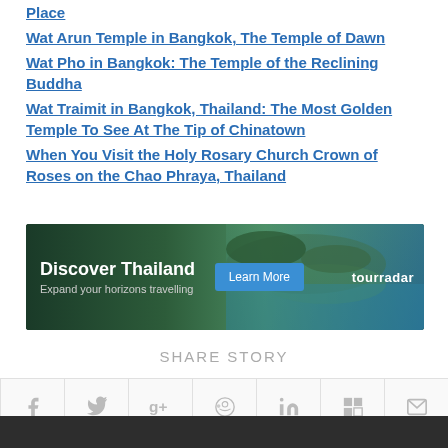Place
Wat Arun Temple in Bangkok, The Temple of Dawn
Wat Pho in Bangkok: The Temple of the Reclining Buddha
Wat Traimit in Bangkok, Thailand: The Most Golden Temple To See At The Tip of Chinatown
When You Visit the Holy Rosary Church Crown of Roses on the Chao Phraya, Thailand
[Figure (infographic): Tourradar advertisement banner for Discover Thailand with aerial view of ocean/coast, 'Learn More' button, and tourradar logo]
SHARE STORY
[Figure (infographic): Social sharing icons row: Facebook, Twitter, Google+, Reddit, LinkedIn, Flipboard, Email]